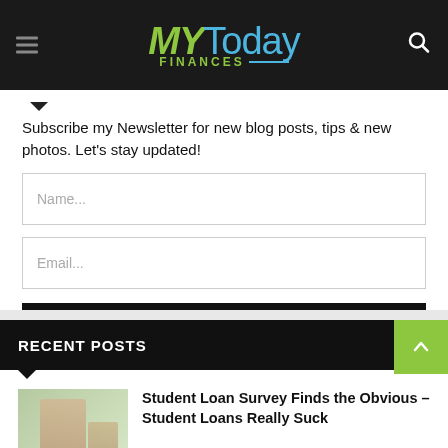[Figure (logo): MYToday Finances logo with green MY, blue Today, and green FINANCES text on dark background]
Subscribe my Newsletter for new blog posts, tips & new photos. Let's stay updated!
Name...
Email...
SUBSCRIBE
RECENT POSTS
Student Loan Survey Finds the Obvious – Student Loans Really Suck